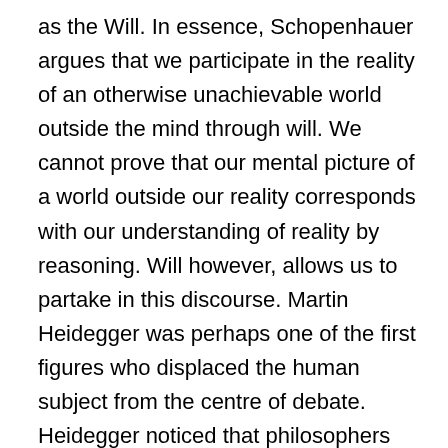as the Will. In essence, Schopenhauer argues that we participate in the reality of an otherwise unachievable world outside the mind through will. We cannot prove that our mental picture of a world outside our reality corresponds with our understanding of reality by reasoning. Will however, allows us to partake in this discourse. Martin Heidegger was perhaps one of the first figures who displaced the human subject from the centre of debate. Heidegger noticed that philosophers from Descartes onwards had seen the human interaction with the world as dependent on a localised and self-aware recipient of experiences called the subject. They had not, however, looked beneath the structure of subjectivity to an even more basic and fundamental issue: what does it mean to be? With this theoretical concept, Dasein, Heidegger was able to do what Nietzsche was not, to step